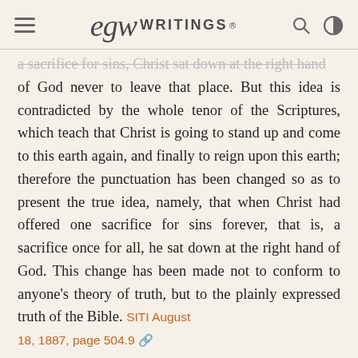EGW WRITINGS®
a sacrifice for sins, Christ sat down at the right hand of God never to leave that place. But this idea is contradicted by the whole tenor of the Scriptures, which teach that Christ is going to stand up and come to this earth again, and finally to reign upon this earth; therefore the punctuation has been changed so as to present the true idea, namely, that when Christ had offered one sacrifice for sins forever, that is, a sacrifice once for all, he sat down at the right hand of God. This change has been made not to conform to anyone's theory of truth, but to the plainly expressed truth of the Bible. SITI August 18, 1887, page 504.9
Again, Matthew 19:28 was once in some Bibles punctuated thus: "Jesus said unto them, Verily I say